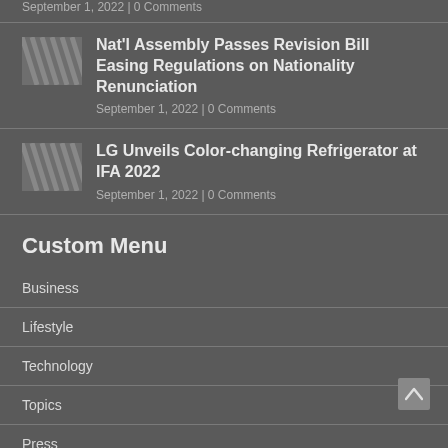September 1, 2022 | 0 Comments
Nat'l Assembly Passes Revision Bill Easing Regulations on Nationality Renunciation
September 1, 2022 | 0 Comments
LG Unveils Color-changing Refrigerator at IFA 2022
September 1, 2022 | 0 Comments
Custom Menu
Business
Lifestyle
Technology
Topics
Press
Feature
Kobiz State